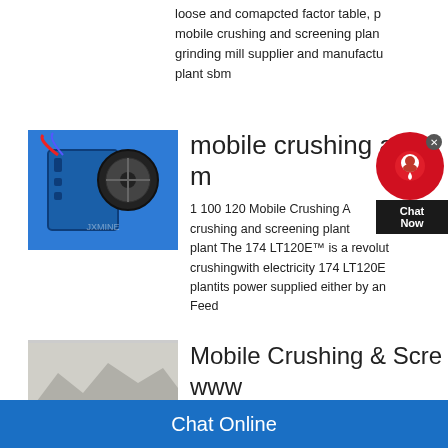loose and comapcted factor table, p mobile crushing and screening plan grinding mill supplier and manufactu plant sbm
[Figure (photo): Blue jaw crusher machine with large flywheel, JXMINE watermark]
mobile crushing and m
1 100 120 Mobile Crushing A crushing and screening plant plant The 174 LT120E™ is a revolut crushingwith electricity 174 LT120E plantits power supplied either by an Feed
[Figure (photo): Grey/white photo of crushed stone or machinery parts]
Mobile Crushing & Scre www
Chat Online